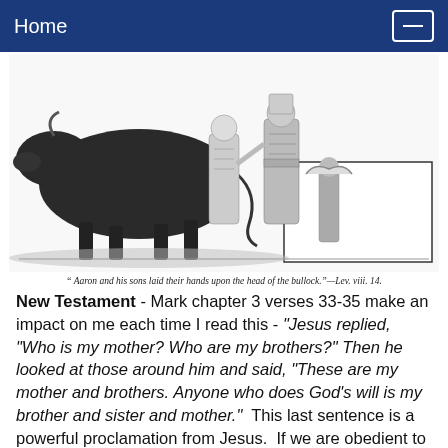Home
[Figure (illustration): Black and white engraving of Aaron and his sons laying their hands upon the head of a bullock, with robed figures standing beside a large ox/bull.]
" Aaron and his sons laid their hands upon the head of the bullock."—Lev. viii. 14.
New Testament - Mark chapter 3 verses 33-35 make an impact on me each time I read this - "Jesus replied, "Who is my mother? Who are my brothers?" Then he looked at those around him and said, "These are my mother and brothers. Anyone who does God's will is my brother and sister and mother."  This last sentence is a powerful proclamation from Jesus.  If we are obedient to